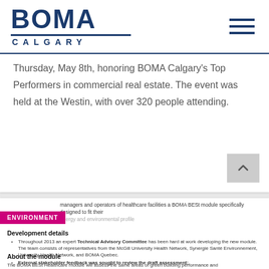[Figure (logo): BOMA Calgary logo with dark blue text and underline]
Thursday, May 8th, honoring BOMA Calgary's Top Performers in commercial real estate. The event was held at the Westin, with over 320 people attending.
managers and operators of healthcare facilities a BOMA BESt module specifically designed to fit their energy and environmental profile
ENVIRONMENT
Development details
Throughout 2013 an expert Technical Advisory Committee has been hard at work developing the new module. The team consists of representatives from the McGill University Health Network, Synergie Santé Environnement, University Health Network, and BOMA Quebec.
External stakeholder feedback was sought to review the draft assessment;
Participants from across the country were recruited for a three-month Pilot Project to ensure the tool is effective and well-suited to meet the needs of eligible building types. The Pilot launched on January 6, 2014 and will close in March 2014;
About the module
The BOMA BESt Healthcare module will assess the same areas of green building performance and